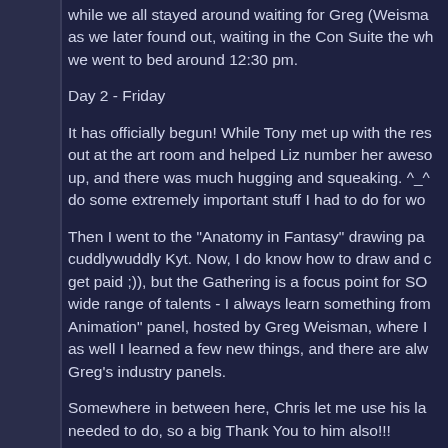while we all stayed around waiting for Greg (Weisma as we later found out, waiting in the Con Suite the wh we went to bed around 12:30 pm.
Day 2 - Friday
It has officially begun! While Tony met up with the res out at the art room and helped Liz number her aweso up, and there was much hugging and squeaking. ^_^ do some extremely important stuff I had to do for wo
Then I went to the "Anatomy in Fantasy" drawing pa cuddlywuddly Kyt. Now, I do know how to draw and get paid ;)), but the Gathering is a focus point for SO wide range of talents - I always learn something from Animation" panel, hosted by Greg Weisman, where I as well I learned a few new things, and there are alw Greg's industry panels.
Somewhere in between here, Chris let me use his la needed to do, so a big Thank You to him also!!!
We took a short recess and then went to opening ce than usual, since Greg was getting tired of his...